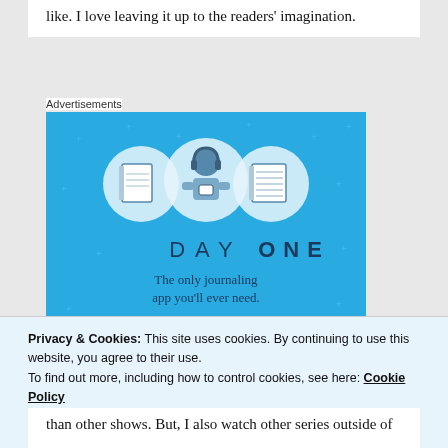like. I love leaving it up to the readers' imagination.
Advertisements
[Figure (illustration): Day One journaling app advertisement on a light blue background. Features three circular icons at top: a blank notebook, a person with headphones looking at a phone, and a lined notebook. Below reads 'DAY ONE' in large spaced letters, then 'The only journaling app you'll ever need.' with a dark blue button partially visible at the bottom.]
Privacy & Cookies: This site uses cookies. By continuing to use this website, you agree to their use.
To find out more, including how to control cookies, see here: Cookie Policy
Close and accept
than other shows. But, I also watch other series outside of